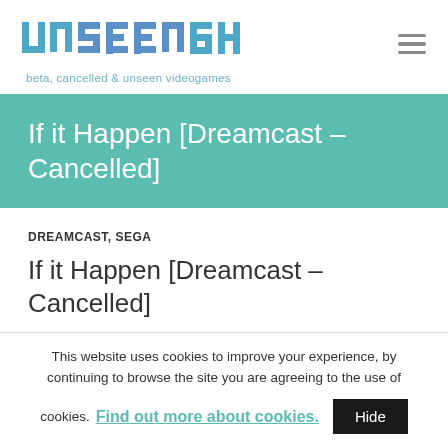Unseen64 — beta, cancelled & unseen videogames
If it Happen [Dreamcast – Cancelled]
DREAMCAST, SEGA
If it Happen [Dreamcast – Cancelled]
This website uses cookies to improve your experience, by continuing to browse the site you are agreeing to the use of cookies. Find out more about cookies.